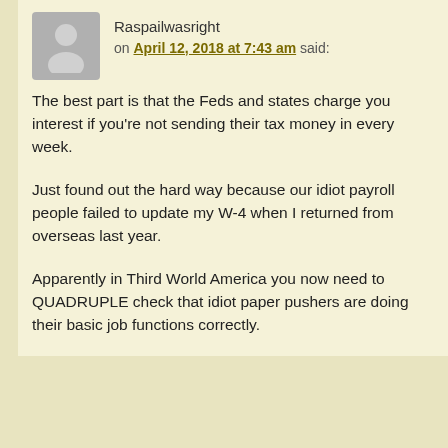Raspailwasright on April 12, 2018 at 7:43 am said:
The best part is that the Feds and states charge you interest if you're not sending their tax money in every week.
Just found out the hard way because our idiot payroll people failed to update my W-4 when I returned from overseas last year.
Apparently in Third World America you now need to QUADRUPLE check that idiot paper pushers are doing their basic job functions correctly.
dhans on April 12, 2018 at 8:22 am said:
When you have roughly half of the population paying no income tax in a